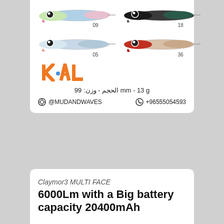[Figure (photo): Four fishing lures displayed in a 2x2 grid. Top-left: colorful lure labeled 09. Top-right: dark lure labeled 18. Bottom-left: silver/gray lure labeled 05. Bottom-right: red/orange lure labeled 36.]
[Figure (logo): KAL brand logo in orange block letters with a blue dot]
الحجم - وزن: 99 mm - 13 g
@MUDANDWAVES  +96555054593
Claymor3 MULTI FACE
6000Lm with a Big battery capacity 20400mAh